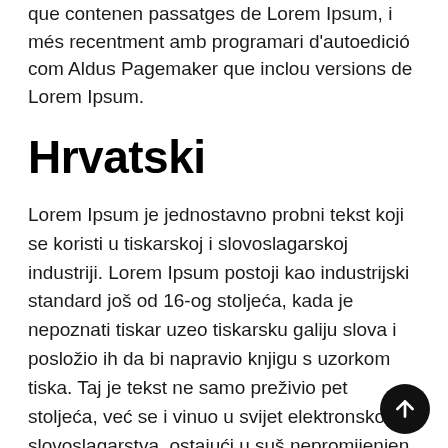que contenen passatges de Lorem Ipsum, i més recentment amb programari d'autoedició com Aldus Pagemaker que inclou versions de Lorem Ipsum.
Hrvatski
Lorem Ipsum je jednostavno probni tekst koji se koristi u tiskarskoj i slovoslagarskoj industriji. Lorem Ipsum postoji kao industrijski standard još od 16-og stoljeća, kada je nepoznati tiskar uzeo tiskarsku galiju slova i posložio ih da bi napravio knjigu s uzorkom tiska. Taj je tekst ne samo preživio pet stoljeća, već se i vinuo u svijet elektronskog slovoslagarstva, ostajući u suš nepromijenjen. Postao je popularan tijekom